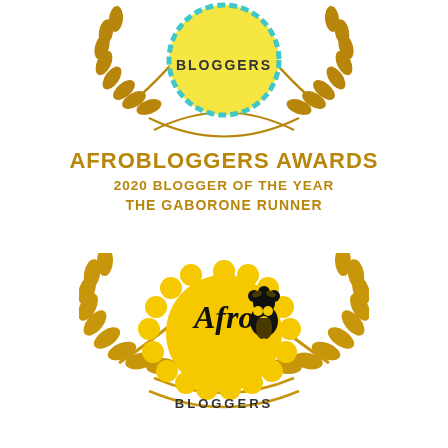[Figure (logo): Afrobloggers award emblem at top - partial wreath with yellow/teal badge showing BLOGGERS text]
AFROBLOGGERS AWARDS
2020 BLOGGER OF THE YEAR
THE GABORONE RUNNER
[Figure (logo): Afrobloggers full logo at bottom - gold laurel wreath surrounding yellow scalloped badge with Afro Bloggers text and silhouette]